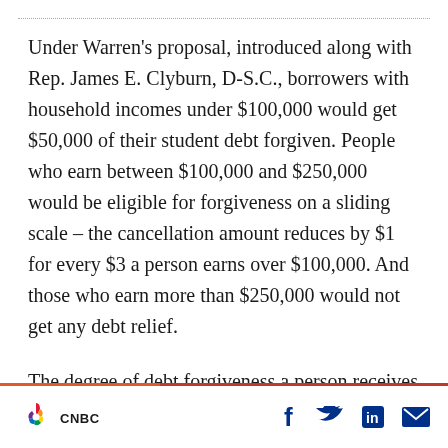Under Warren’s proposal, introduced along with Rep. James E. Clyburn, D-S.C., borrowers with household incomes under $100,000 would get $50,000 of their student debt forgiven. People who earn between $100,000 and $250,000 would be eligible for forgiveness on a sliding scale – the cancellation amount reduces by $1 for every $3 a person earns over $100,000. And those who earn more than $250,000 would not get any debt relief.
The degree of debt forgiveness a person receives
CNBC [logo] | social icons: Facebook, Twitter, LinkedIn, Email